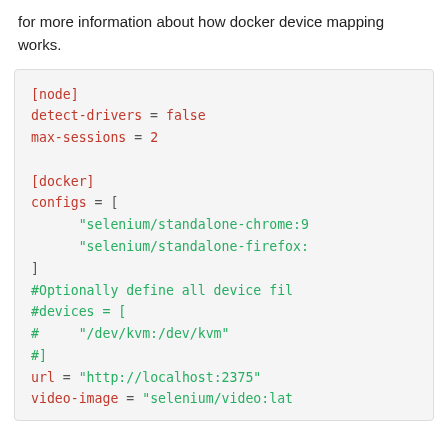for more information about how docker device mapping works.
[Figure (screenshot): Code block showing a configuration file with [node] and [docker] sections including detect-drivers, max-sessions, configs, devices (commented), url, and video-image settings.]